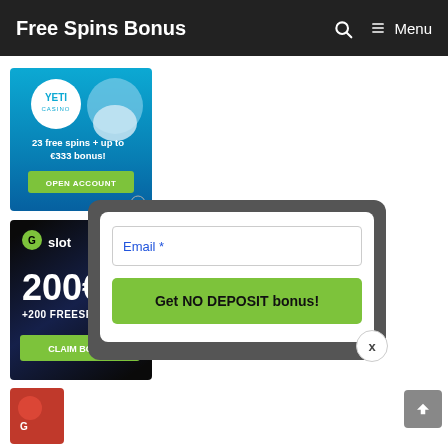Free Spins Bonus   Menu
[Figure (screenshot): Yeti Casino advertisement banner: circular Yeti Casino logo, text '23 free spins + up to €333 bonus!', green 'OPEN ACCOUNT' button, blue gradient background with yeti character]
[Figure (screenshot): G Slot casino advertisement: dark space background, G logo in green circle, 'Gslot' text, '200€ +200 FREESPINS' offer, green button]
[Figure (screenshot): Partially visible third casino advertisement with red background]
[Figure (screenshot): Popup modal with gray rounded background, email input field labeled 'Email *', green 'Get NO DEPOSIT bonus!' button, and X close button]